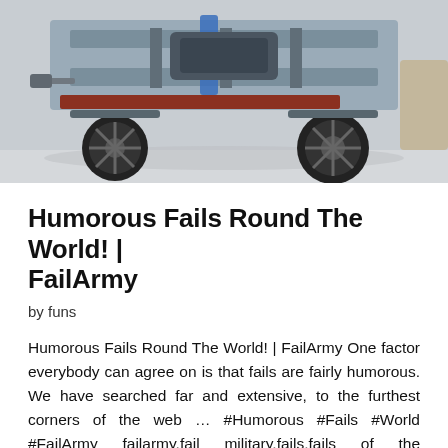[Figure (photo): Photo of the underside of a vehicle/truck chassis, flipped or elevated, showing wheels, axles, frame, and mechanical components from below, against a light gray background.]
Humorous Fails Round The World! | FailArmy
by funs
Humorous Fails Round The World! | FailArmy One factor everybody can agree on is that fails are fairly humorous. We have searched far and extensive, to the furthest corners of the web … #Humorous #Fails #World #FailArmy failarmy,fail military,fails,fails of the week,humorous fails,fail,failarmyyt,failarmy 2020,fail 2020,fails… Read More »